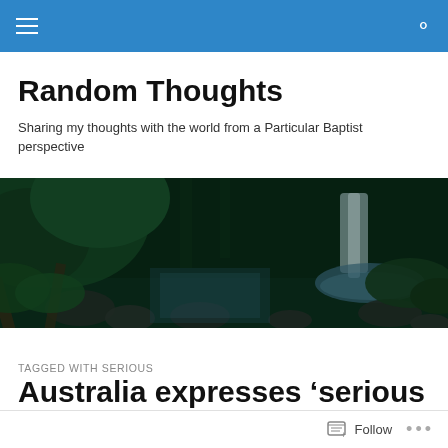Random Thoughts
Sharing my thoughts with the world from a Particular Baptist perspective
[Figure (photo): Dark moody nature scene showing a rainforest creek with a waterfall, moss-covered rocks, and lush green ferns and trees.]
TAGGED WITH SERIOUS
Australia expresses ‘serious concerns’ about its...
Follow